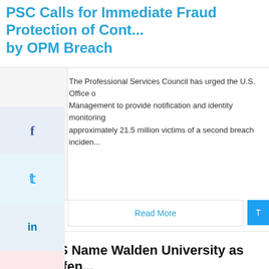PSC Calls for Immediate Fraud Protection of Cont... by OPM Breach
The Professional Services Council has urged the U.S. Office of Management to provide notification and identity monitoring approximately 21.5 million victims of a second breach incident...
Read More
NSA, DHS Name Walden University as Cyber Defense Center of Academic Excellence; Karlyn Barilovits C...
The National Security Agency and Department of Homeland Security named Walden University a designation as a national center of academic...